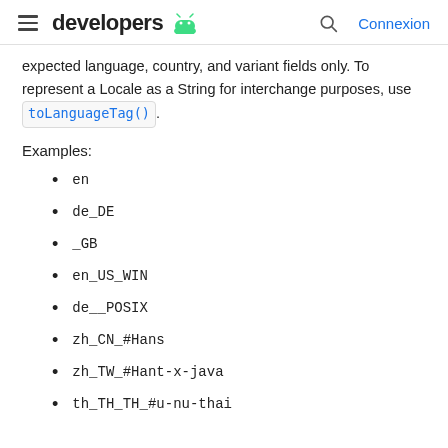developers
expected language, country, and variant fields only. To represent a Locale as a String for interchange purposes, use toLanguageTag().
Examples:
en
de_DE
_GB
en_US_WIN
de__POSIX
zh_CN_#Hans
zh_TW_#Hant-x-java
th_TH_TH_#u-nu-thai